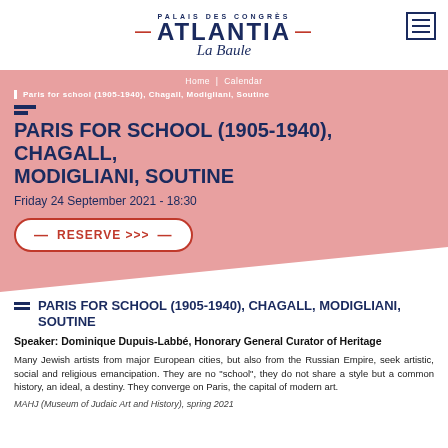[Figure (logo): Palais des Congrès Atlantia La Baule logo with hamburger menu icon]
Home | Calendar
Paris for school (1905-1940), Chagall, Modigliani, Soutine
PARIS FOR SCHOOL (1905-1940), CHAGALL, MODIGLIANI, SOUTINE
Friday 24 September 2021 - 18:30
RESERVE >>>
PARIS FOR SCHOOL (1905-1940), CHAGALL, MODIGLIANI, SOUTINE
Speaker: Dominique Dupuis-Labbé, Honorary General Curator of Heritage
Many Jewish artists from major European cities, but also from the Russian Empire, seek artistic, social and religious emancipation. They are no "school", they do not share a style but a common history, an ideal, a destiny. They converge on Paris, the capital of modern art.
MAHJ (Museum of Judaic Art and History), spring 2021